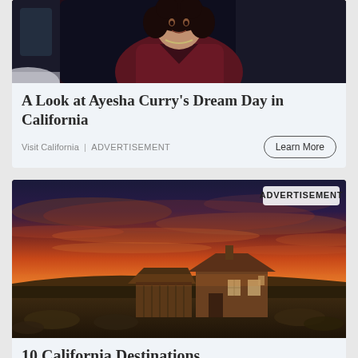[Figure (photo): Woman in dark red/burgundy outfit seated in a vintage car interior, wearing a necklace, dark curly hair, looking at camera]
A Look at Ayesha Curry's Dream Day in California
Visit California | ADVERTISEMENT
Learn More
[Figure (photo): Rustic abandoned wooden buildings at sunset with vivid orange and red sky, open grassland, desert landscape — Bodie ghost town California]
ADVERTISEMENT
10 California Destinations